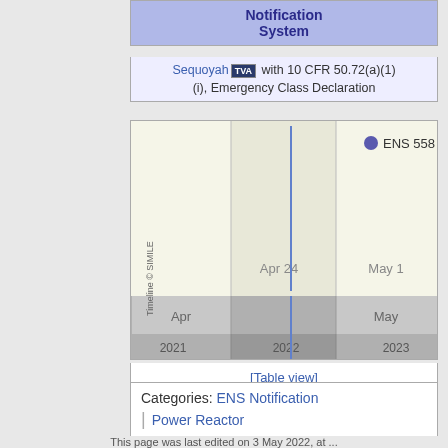Notification System
Sequoyah TVA with 10 CFR 50.72(a)(1)(i), Emergency Class Declaration
[Figure (other): SIMILE timeline widget showing ENS 558 event marker around late April 2022, with zoomed timeline showing Apr 24, May 1 markers and year-level timeline showing 2021, 2022, 2023. Blue dot legend labeled 'ENS 558'. Vertical axis label: 'Timeline © SIMILE']
[Table view]
[ENS list for Sequoyah]
Categories:  ENS Notification | Power Reactor
This page was last edited on 3 May 2022, at ...